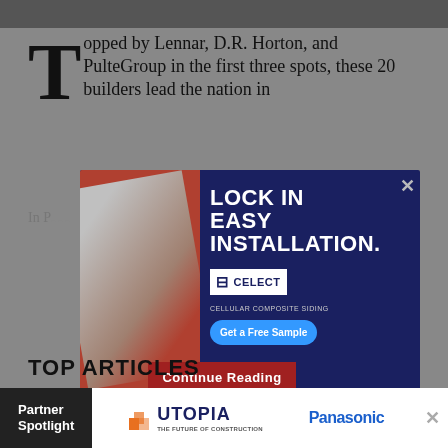[Figure (photo): Top strip image, dark background]
Topped by Lennar, D.R. Horton, and PulteGroup in the first three spots, these 20 builders lead the nation in multifamily development
In P...
[Figure (infographic): Celect advertisement overlay: LOCK IN EASY INSTALLATION. Get a Free Sample button. Celect cellular composite siding logo.]
Continue Reading
TOP ARTICLES
MARKET DATA + TRENDS
Goldman Sachs Predicts Sharp Declines Ahead...
[Figure (infographic): Bottom partner spotlight ad bar: Utopia and Panasonic logos on white background with close button]